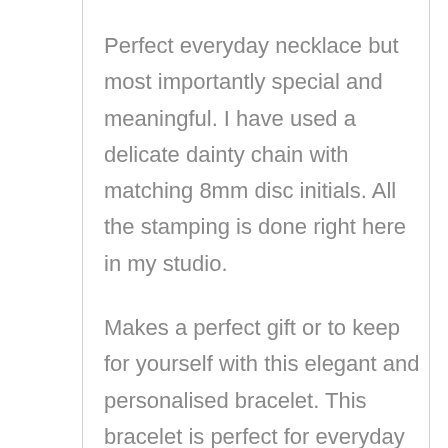Perfect everyday necklace but most importantly special and meaningful. I have used a delicate dainty chain with matching 8mm disc initials. All the stamping is done right here in my studio.
Makes a perfect gift or to keep for yourself with this elegant and personalised bracelet. This bracelet is perfect for everyday use, can also be a gift for your bridesmaids or Flower girls or a lovely present for someone you